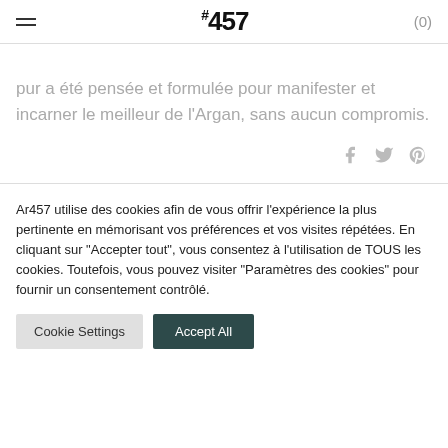≡  #457  (0)
pur a été pensée et formulée pour manifester et incarner le meilleur de l'Argan, sans aucun compromis.
Ar457 utilise des cookies afin de vous offrir l'expérience la plus pertinente en mémorisant vos préférences et vos visites répétées. En cliquant sur "Accepter tout", vous consentez à l'utilisation de TOUS les cookies. Toutefois, vous pouvez visiter "Paramètres des cookies" pour fournir un consentement contrôlé.
Cookie Settings | Accept All